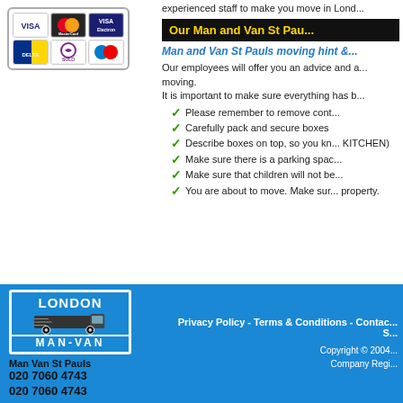[Figure (other): Payment card logos: VISA, MasterCard, VISA Electron, Delta, Solo, Maestro]
experienced staff to make you move in Lond...
Our Man and Van St Pau...
Man and Van St Pauls moving hint &...
Our employees will offer you an advice and a... moving.
It is important to make sure everything has b...
Please remember to remove cont...
Carefully pack and secure boxes
Describe boxes on top, so you kn... KITCHEN)
Make sure there is a parking spac...
Make sure that children will not be...
You are about to move. Make sur... property.
[Figure (logo): London Man-Van logo with truck graphic]
Man Van St Pauls
020 7060 4743
020 7060 4743
Privacy Policy - Terms & Conditions - Contac... S...
Copyright © 2004...
Company Regi...